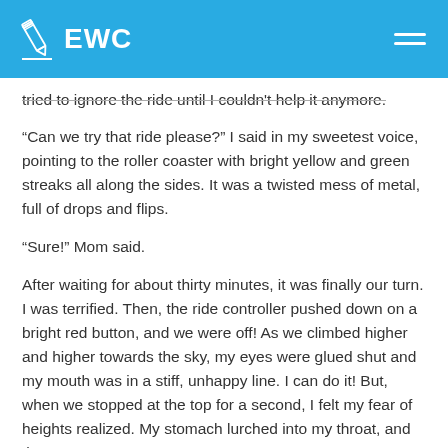EWC
tried to ignore the ride until I couldn't help it anymore.
“Can we try that ride please?” I said in my sweetest voice, pointing to the roller coaster with bright yellow and green streaks all along the sides. It was a twisted mess of metal, full of drops and flips.
“Sure!” Mom said.
After waiting for about thirty minutes, it was finally our turn. I was terrified. Then, the ride controller pushed down on a bright red button, and we were off! As we climbed higher and higher towards the sky, my eyes were glued shut and my mouth was in a stiff, unhappy line. I can do it! But, when we stopped at the top for a second, I felt my fear of heights realized. My stomach lurched into my throat, and then...